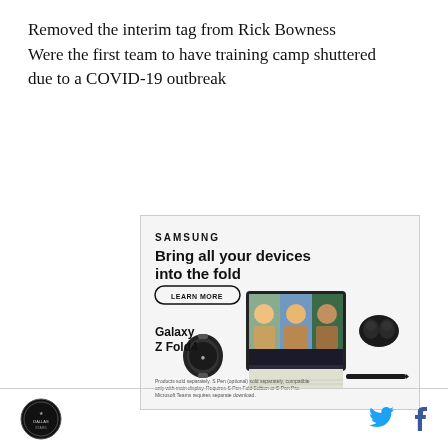Removed the interim tag from Rick Bowness Were the first team to have training camp shuttered due to a COVID-19 outbreak
[Figure (other): Samsung advertisement for Galaxy Z Fold4. Text reads: SAMSUNG, Bring all your devices into the fold, LEARN MORE button, Galaxy Z Fold4. Shows images of Galaxy watch, folded phone with video call, and earbuds. Disclaimer: Products sold separately. S Pen (optional) sold separately, compatible only with main display. Requires S Pen Fold Edition or S Pen Pro. Microsoft Teams requires separate download.]
Logo and social media icons (Twitter, Facebook)